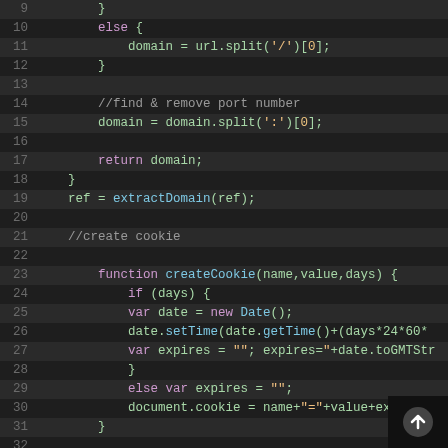[Figure (screenshot): Code editor screenshot showing JavaScript code lines 9–38, featuring functions extractDomain and createCookie, dark theme with line numbers.]